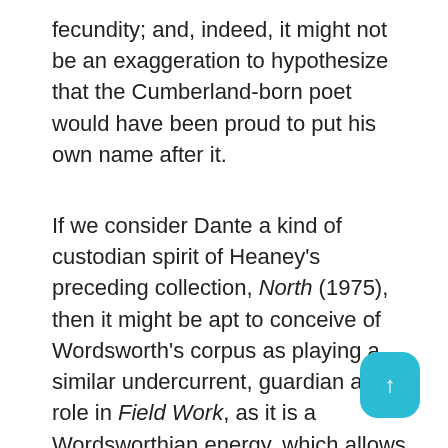fecundity; and, indeed, it might not be an exaggeration to hypothesize that the Cumberland-born poet would have been proud to put his own name after it.
If we consider Dante a kind of custodian spirit of Heaney's preceding collection, North (1975), then it might be apt to conceive of Wordsworth's corpus as playing a similar undercurrent, guardian angel role in Field Work, as it is a Wordsworthian energy, which allows the natural and the textual to coexist symbiotically, and register and electrify one another with vitality and signification. The poems in the collection possess a kind of almost organic magnificence and technical perfection that point,